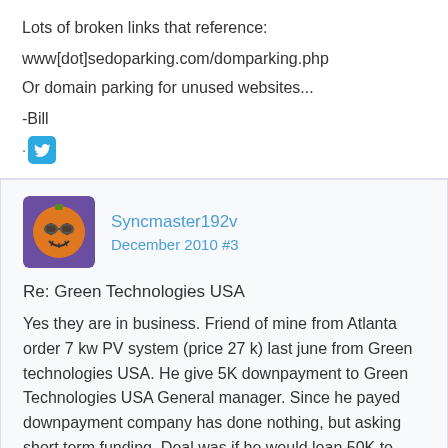Lots of broken links that reference:
www[dot]sedoparking.com/domparking.php
Or domain parking for unused websites...
-Bill
[Figure (logo): Twitter bird icon (blue)]
Syncmaster192v
December 2010 #3
Re: Green Technologies USA
Yes they are in business. Friend of mine from Atlanta order 7 kw PV system (price 27 k) last june from Green technologies USA. He give 5K downpayment to Green Technologies USA General manager. Since he payed downpayment company has done nothing, but asking short term funding. Deal was if he would loan 50K to GTUSA (green technologies USA) for 90 days.